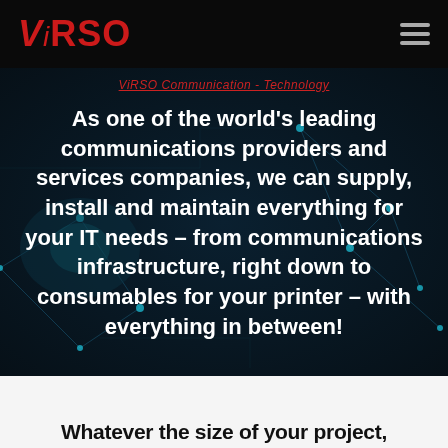[Figure (logo): ViRSO company logo in red italic text on black background]
ViRSO Communication - Technology
As one of the world’s leading communications providers and services companies, we can supply, install and maintain everything for your IT needs – from communications infrastructure, right down to consumables for your printer – with everything in between!
Whatever the size of your project,